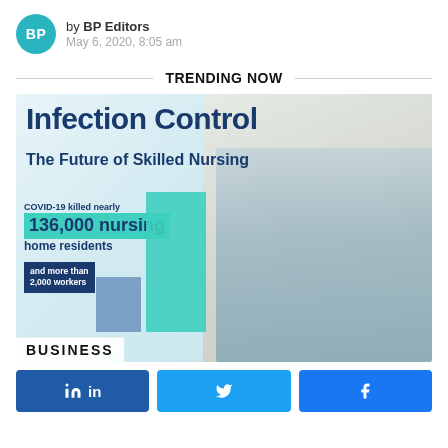by BP Editors
May 6, 2020, 8:05 am
TRENDING NOW
[Figure (infographic): Infection Control: The Future of Skilled Nursing. COVID-19 killed nearly 136,000 nursing home residents and more than 2,000 workers. Shows bar chart elements with teal and blue bars. Background shows a hospital room bed and a wheelchair. BUSINESS label at bottom.]
[Figure (infographic): Social share buttons: LinkedIn (in), Twitter (bird icon), Facebook (f icon)]